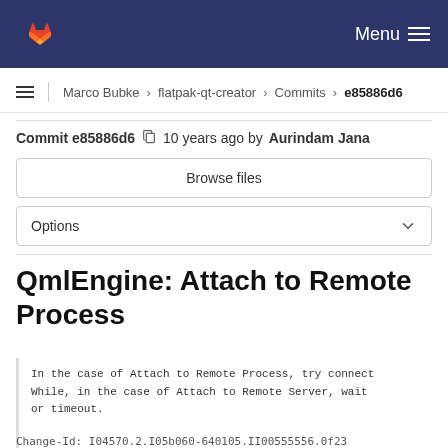Menu
Marco Bubke > flatpak-qt-creator > Commits > e85886d6
Commit e85886d6  10 years ago by Aurindam Jana
Browse files
Options
QmlEngine: Attach to Remote Process
In the case of Attach to Remote Process, try connect
While, in the case of Attach to Remote Server, wait
or timeout.

Change-Id: I04570...